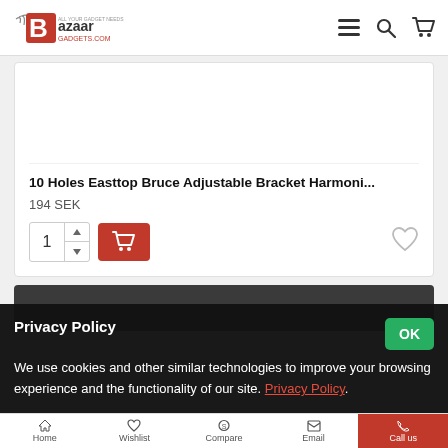[Figure (logo): Bazaar Gadgets logo with stylized B in red]
10 Holes Easttop Bruce Adjustable Bracket Harmoni...
194 SEK
1 (quantity input with add to cart button and wishlist icon)
Privacy Policy
We use cookies and other similar technologies to improve your browsing experience and the functionality of our site. Privacy Policy.
Home   Wishlist   Compare   Email   Call us